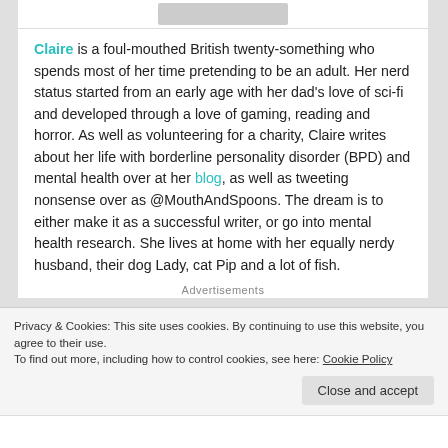[Figure (photo): Cropped profile photo placeholder at top of card]
Claire is a foul-mouthed British twenty-something who spends most of her time pretending to be an adult. Her nerd status started from an early age with her dad's love of sci-fi and developed through a love of gaming, reading and horror. As well as volunteering for a charity, Claire writes about her life with borderline personality disorder (BPD) and mental health over at her blog, as well as tweeting nonsense over as @MouthAndSpoons. The dream is to either make it as a successful writer, or go into mental health research. She lives at home with her equally nerdy husband, their dog Lady, cat Pip and a lot of fish.
Advertisements
Privacy & Cookies: This site uses cookies. By continuing to use this website, you agree to their use.
To find out more, including how to control cookies, see here: Cookie Policy